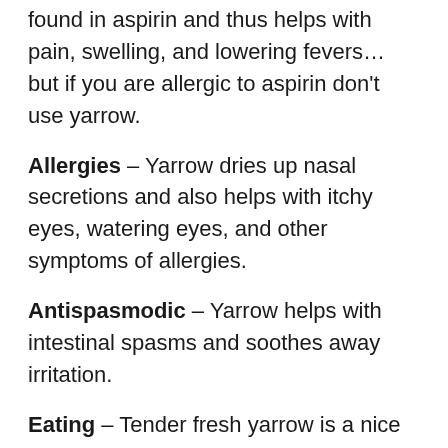Fevers – Yarrow also contains salicylic acid which is also found in aspirin and thus helps with pain, swelling, and lowering fevers… but if you are allergic to aspirin don't use yarrow.
Allergies – Yarrow dries up nasal secretions and also helps with itchy eyes, watering eyes, and other symptoms of allergies.
Antispasmodic – Yarrow helps with intestinal spasms and soothes away irritation.
Eating – Tender fresh yarrow is a nice bitter to add to green salads.
Forms – Yarrow can be used as tinctures, in baths for skin problems and hemorrhoids, as tea, as essential oils, as powders for skin wounds, sprays for wounds, lotions and